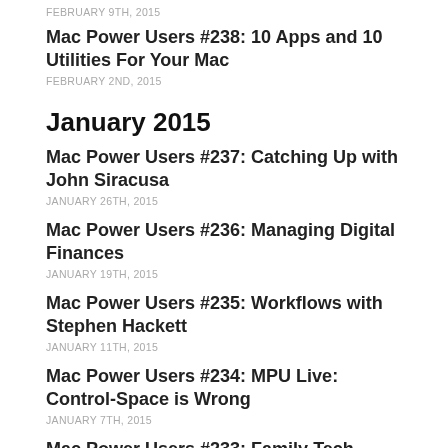FEBRUARY 9TH, 2015
Mac Power Users #238: 10 Apps and 10 Utilities For Your Mac
FEBRUARY 2ND, 2015
January 2015
Mac Power Users #237: Catching Up with John Siracusa
JANUARY 26TH, 2015
Mac Power Users #236: Managing Digital Finances
JANUARY 19TH, 2015
Mac Power Users #235: Workflows with Stephen Hackett
JANUARY 11TH, 2015
Mac Power Users #234: MPU Live: Control-Space is Wrong
JANUARY 7TH, 2015
Mac Power Users #233: Family Tech Support